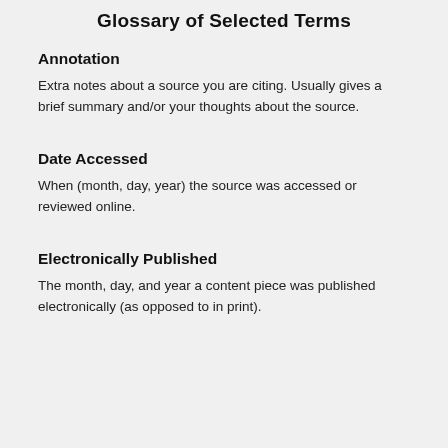Glossary of Selected Terms
Annotation
Extra notes about a source you are citing. Usually gives a brief summary and/or your thoughts about the source.
Date Accessed
When (month, day, year) the source was accessed or reviewed online.
Electronically Published
The month, day, and year a content piece was published electronically (as opposed to in print).